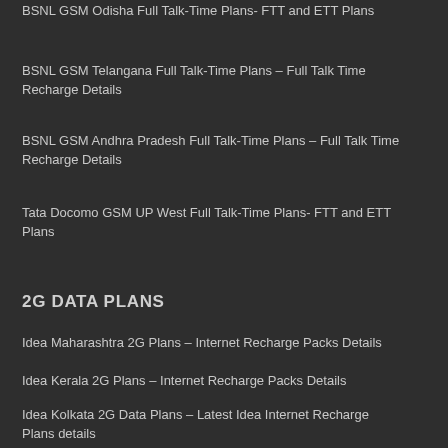BSNL GSM Odisha Full Talk-Time Plans- FTT and ETT Plans
BSNL GSM Telangana Full Talk-Time Plans – Full Talk Time Recharge Details
BSNL GSM Andhra Pradesh Full Talk-Time Plans – Full Talk Time Recharge Details
Tata Docomo GSM UP West Full Talk-Time Plans- FTT and ETT Plans
2G DATA PLANS
Idea Maharashtra 2G Plans – Internet Recharge Packs Details
Idea Kerala 2G Plans – Internet Recharge Packs Details
Idea Kolkata 2G Data Plans – Latest Idea Internet Recharge Plans details